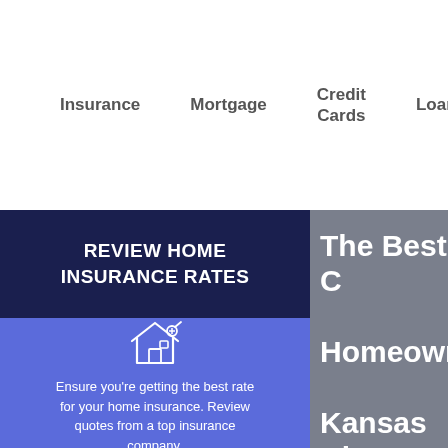Insurance   Mortgage   Credit Cards   Loans   Financial Planning
REVIEW HOME INSURANCE RATES
Ensure you're getting the best rate for your home insurance. Review quotes from a top insurance company.
The Best Homeowners Kansas City 2022: Quo
In Kansas City, Misso homeowners insura